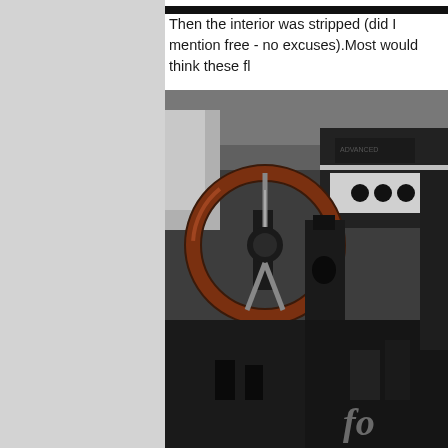[Figure (photo): Dark strip at top, partial top image]
Then the interior was stripped (did I mention free - no excuses).Most would think these fl
[Figure (photo): Interior of a vintage car showing a wooden steering wheel, dashboard with controls and gauges, black carpet floor, and stripped interior. A watermark appears in the lower right.]